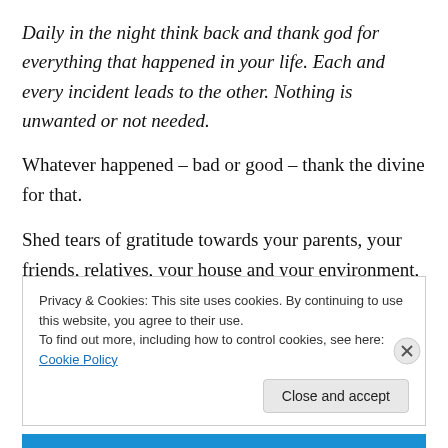Daily in the night think back and thank god for everything that happened in your life. Each and every incident leads to the other. Nothing is unwanted or not needed.
Whatever happened – bad or good – thank the divine for that.
Shed tears of gratitude towards your parents, your friends, relatives, your house and your environment, the air you breathe, the dress you wear, the food you take, the water you drink.
Privacy & Cookies: This site uses cookies. By continuing to use this website, you agree to their use. To find out more, including how to control cookies, see here: Cookie Policy
Close and accept